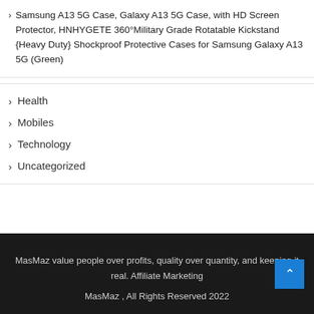Samsung A13 5G Case, Galaxy A13 5G Case, with HD Screen Protector, HNHYGETE 360°Military Grade Rotatable Kickstand {Heavy Duty} Shockproof Protective Cases for Samsung Galaxy A13 5G (Green)
Health
Mobiles
Technology
Uncategorized
MasMaz value people over profits, quality over quantity, and keeping it real. Affiliate Marketing
MasMaz , All Rights Reserved 2022